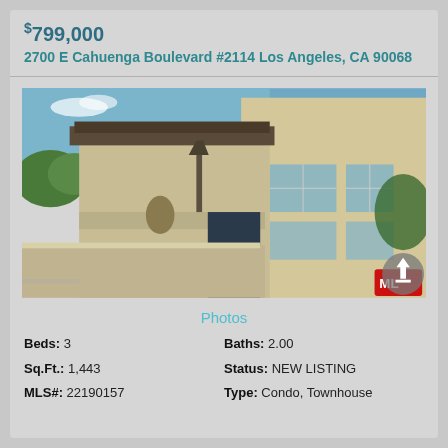$799,000
2700 E Cahuenga Boulevard #2114 Los Angeles, CA 90068
[Figure (photo): Exterior photo of condo/townhouse building showing terrace, balconies, stucco facade, and windows. Blue sky visible in background.]
Photos
Beds: 3
Baths: 2.00
Sq.Ft.: 1,443
Status: NEW LISTING
MLS#: 22190157
Type: Condo, Townhouse